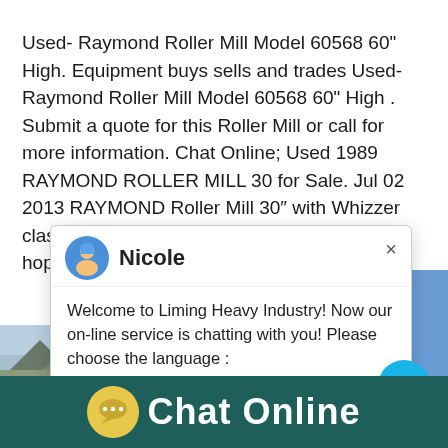Used- Raymond Roller Mill Model 60568 60" High. Equipment buys sells and trades Used- Raymond Roller Mill Model 60568 60" High . Submit a quote for this Roller Mill or call for more information. Chat Online; Used 1989 RAYMOND ROLLER MILL 30 for Sale. Jul 02 2013 RAYMOND Roller Mill 30″ with Whizzer clasifier cyclone baghouse product and feed hopper feeder fan etc. Ex pilot plant very good
P...
S...
Capacity:140t/h
Finished product fineness:0-10mm丨10-20mm
[Figure (screenshot): Chat popup overlay with avatar of Nicole, welcome message from Liming Heavy Industry, and a machinery image on the right with a blue badge showing '1' and a 'Click me to chat>>' button]
[Figure (photo): Mountain landscape photo at the bottom left]
[Figure (infographic): Bottom bar with yellow chat bubble icon and 'Chat Online' text on dark teal background]